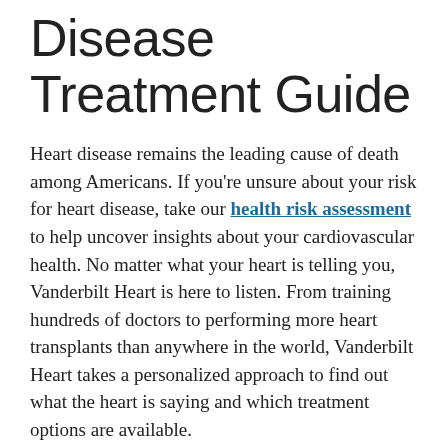Disease Treatment Guide
Heart disease remains the leading cause of death among Americans. If you're unsure about your risk for heart disease, take our health risk assessment to help uncover insights about your cardiovascular health. No matter what your heart is telling you, Vanderbilt Heart is here to listen. From training hundreds of doctors to performing more heart transplants than anywhere in the world, Vanderbilt Heart takes a personalized approach to find out what the heart is saying and which treatment options are available.
There are several treatments and lifestyle changes that can help reduce your risk of heart disease. To